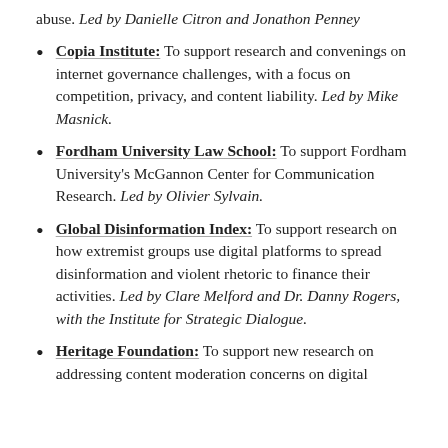abuse. Led by Danielle Citron and Jonathon Penney
Copia Institute: To support research and convenings on internet governance challenges, with a focus on competition, privacy, and content liability. Led by Mike Masnick.
Fordham University Law School: To support Fordham University's McGannon Center for Communication Research. Led by Olivier Sylvain.
Global Disinformation Index: To support research on how extremist groups use digital platforms to spread disinformation and violent rhetoric to finance their activities. Led by Clare Melford and Dr. Danny Rogers, with the Institute for Strategic Dialogue.
Heritage Foundation: To support new research on addressing content moderation concerns on digital